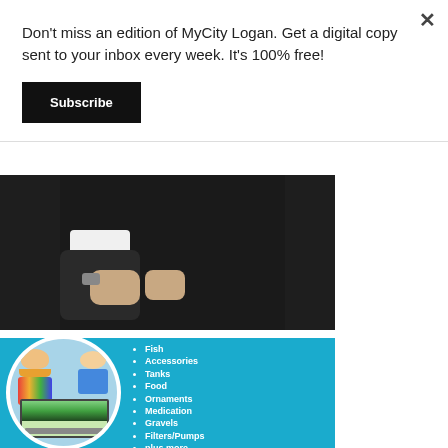Don't miss an edition of MyCity Logan. Get a digital copy sent to your inbox every week. It's 100% free!
Subscribe
[Figure (photo): Partial view of a person in a dark suit, partially obscured by the modal overlay]
[Figure (infographic): Aquarium store advertisement with a blue background, circular photo of two children looking at a fish tank, and a bullet list of products: Fish, Accessories, Tanks, Food, Ornaments, Medication, Gravels, Filters/Pumps, plus more]